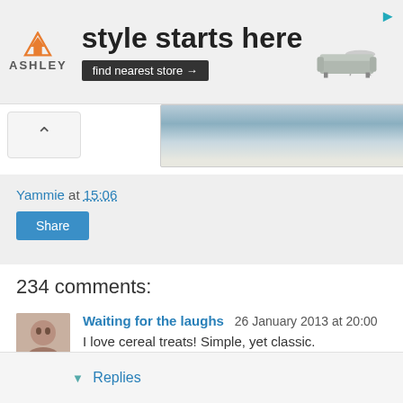[Figure (other): Ashley Furniture advertisement banner: logo with orange triangle house icon and 'ASHLEY' text, headline 'style starts here', dark button 'find nearest store →', sofa image on right, play icon top-right corner]
[Figure (photo): Partial food photograph visible at top, appears to be a bowl or plate with food, bluish-grey tones. Navigation chevron button on left side.]
Yammie at 15:06
Share
234 comments:
Waiting for the laughs  26 January 2013 at 20:00
I love cereal treats! Simple, yet classic.
Reply
▾ Replies